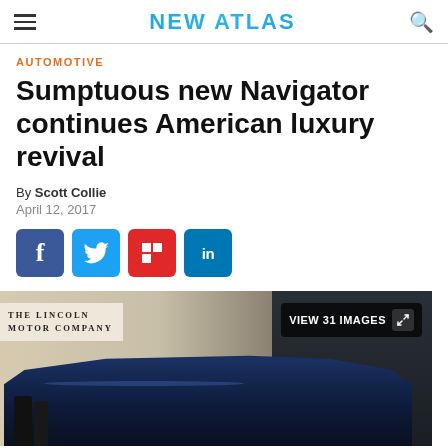NEW ATLAS
AUTOMOTIVE
Sumptuous new Navigator continues American luxury revival
By Scott Collie
April 12, 2017
[Figure (screenshot): Social media sharing buttons: Facebook (blue), Twitter (blue), Flipboard (red), LinkedIn (blue)]
[Figure (photo): Photo of Lincoln Navigator SUV on display at auto show, with The Lincoln Motor Company sign visible in background and VIEW 31 IMAGES overlay button]